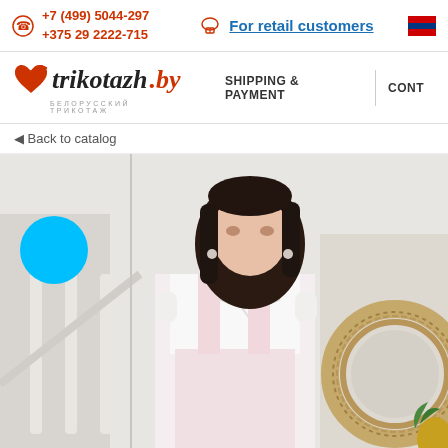+7 (499) 5044-297
+375 29 2222-715 | For retail customers
[Figure (logo): trikotazh.by logo with heart/ribbon graphic and subtitle БЕЛОРУССКИЙ ТРИКОТАЖ]
SHIPPING & PAYMENT | CONT...
◄ Back to catalog
[Figure (photo): Woman wearing a white short-sleeve ruffled blouse and pink gingham pinafore dress, standing near white staircase railing with a round rattan mirror in background. Cyan circle badge/label in upper left of image.]